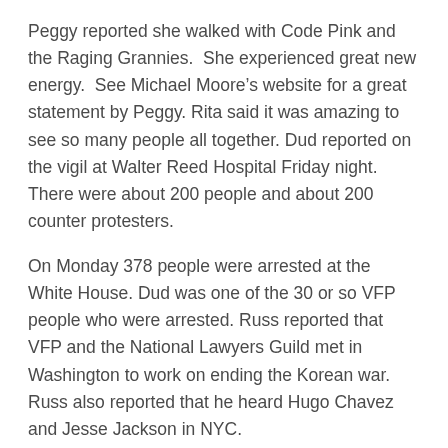Peggy reported she walked with Code Pink and the Raging Grannies.  She experienced great new energy.  See Michael Moore’s website for a great statement by Peggy. Rita said it was amazing to see so many people all together. Dud reported on the vigil at Walter Reed Hospital Friday night.  There were about 200 people and about 200 counter protesters.
On Monday 378 people were arrested at the White House. Dud was one of the 30 or so VFP people who were arrested. Russ reported that VFP and the National Lawyers Guild met in Washington to work on ending the Korean war.  Russ also reported that he heard Hugo Chavez and Jesse Jackson in NYC.